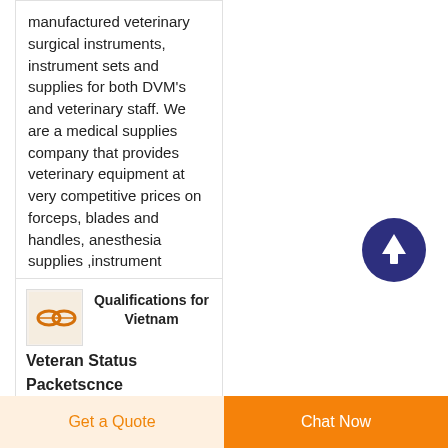manufactured veterinary surgical instruments, instrument sets and supplies for both DVM's and veterinary staff. We are a medical supplies company that provides veterinary equipment at very competitive prices on forceps, blades and handles, anesthesia supplies ,instrument
[Figure (other): Dark navy blue circular scroll-to-top button with upward arrow icon]
[Figure (photo): Small thumbnail image showing orange/copper rings or links, resembling chain or instrument parts]
Qualifications for Vietnam Veteran Status Packetscnce
Get a Quote
Chat Now